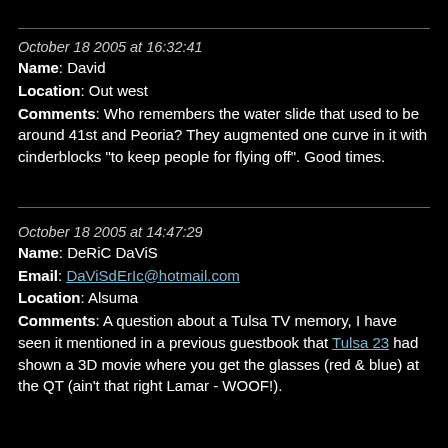October 18 2005 at 16:32:41
Name: David
Location: Out west
Comments: Who remembers the water slide that used to be around 41st and Peoria? They augmented one curve in it with cinderblocks "to keep people for flying off". Good times.
October 18 2005 at 14:47:29
Name: DeRiC DaViS
Email: DaViSdErIc@hotmail.com
Location: Alsuma
Comments: A question about a Tulsa TV memory, I have seen it mentioned in a previous guestbook that Tulsa 23 had shown a 3D movie where you get the glasses (red & blue) at the QT (ain't that right Lamar - WOOF!).